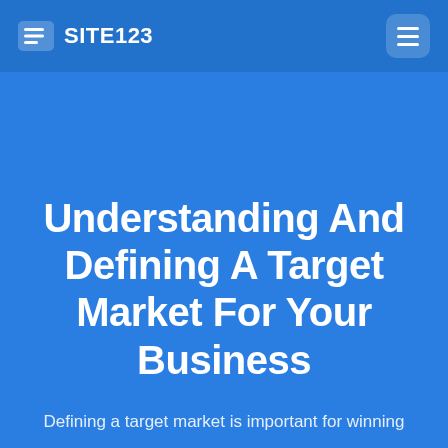SITE123
Understanding And Defining A Target Market For Your Business
Defining a target market is important for winning